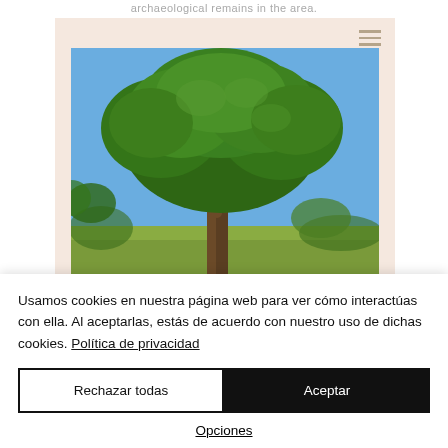archaeological remains in the area.
[Figure (photo): A large, broad oak tree with dense green foliage against a blue sky, photographed outdoors in a natural setting. The image is displayed in a card with a pale pink/peach background.]
Usamos cookies en nuestra página web para ver cómo interactúas con ella. Al aceptarlas, estás de acuerdo con nuestro uso de dichas cookies. Política de privacidad
Rechazar todas
Aceptar
Opciones